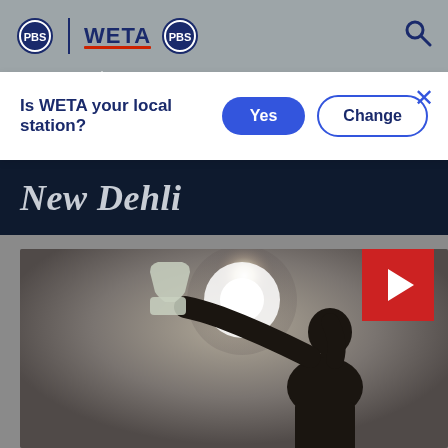PBS | WETA PBS
Is WETA your local station? Yes Change
New Dehli
[Figure (photo): Silhouette of a person drinking from a bottle against a bright glowing circular light source, suggesting extreme heat in New Delhi. A red play button is visible in the top right corner of the video thumbnail.]